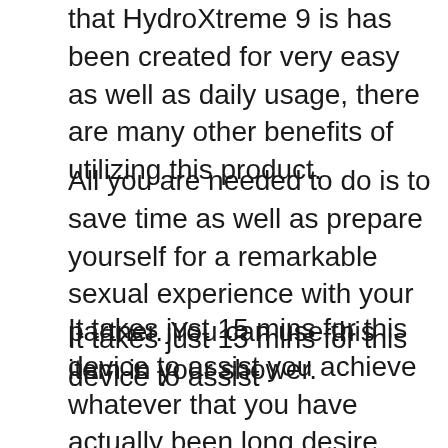that HydroXtreme 9 is has been created for very easy as well as daily usage, there are many other benefits of utilizing this product.
All you are needed to do is to save time as well as prepare yourself for a remarkable sexual experience with your partner. You can use this item in your shower.
It takes just 15 mins for this device to assist you achieve whatever that you have actually been long desire. Not just this, but the makers also declare that you might achieve a penile size rise by 1-3 inches upon erection on the very first use of this product.
This penis pump might likewise assist you in treating the problem of erectile dysfunction a